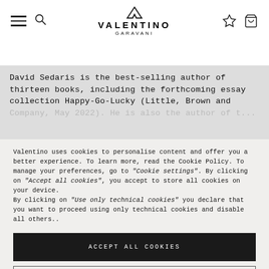Valentino Garavani — navigation header with hamburger menu, search icon, logo, wishlist icon, and bag icon
David Sedaris is the best-selling author of thirteen books, including the forthcoming essay collection Happy-Go-Lucky (Little, Brown and Company, May 2022). He is also the author of the...
Valentino uses cookies to personalise content and offer you a better experience. To learn more, read the Cookie Policy. To manage your preferences, go to "Cookie settings". By clicking on "Accept all cookies", you accept to store all cookies on your device.
By clicking on "Use only technical cookies" you declare that you want to proceed using only technical cookies and disable all others..
ACCEPT ALL COOKIES
ALLOW TECHNICAL COOKIES ONLY
Cookie settings